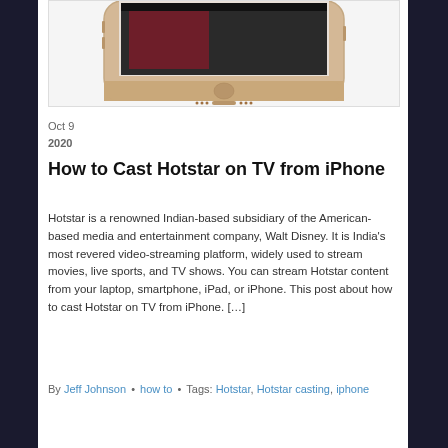[Figure (photo): Photo of a gold iPhone partially visible at top, cropped view showing the bottom portion of the device against a white background]
Oct 9
2020
How to Cast Hotstar on TV from iPhone
Hotstar is a renowned Indian-based subsidiary of the American-based media and entertainment company, Walt Disney. It is India's most revered video-streaming platform, widely used to stream movies, live sports, and TV shows. You can stream Hotstar content from your laptop, smartphone, iPad, or iPhone. This post about how to cast Hotstar on TV from iPhone. […]
By Jeff Johnson • how to • Tags: Hotstar, Hotstar casting, iphone